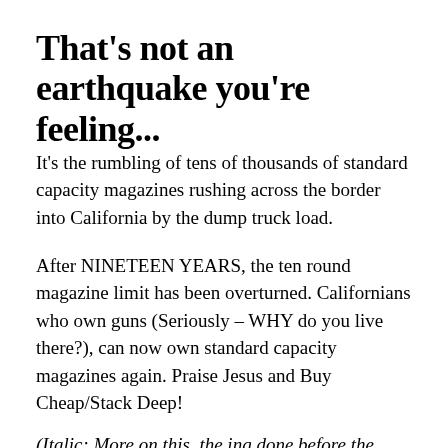That's not an earthquake you're feeling...
It's the rumbling of tens of thousands of standard capacity magazines rushing across the border into California by the dump truck load.
After NINETEEN YEARS, the ten round magazine limit has been overturned. Californians who own guns (Seriously – WHY do you live there?), can now own standard capacity magazines again. Praise Jesus and Buy Cheap/Stack Deep!
(Italic: More on this, the ing done before the